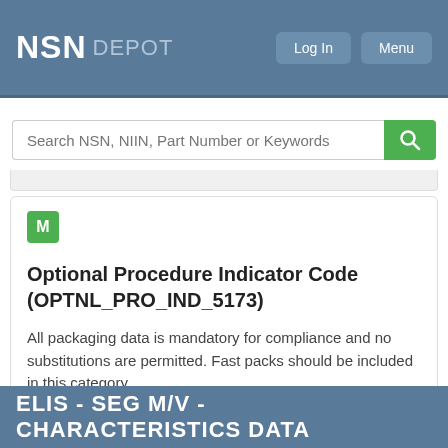NSN DEPOT
Search NSN, NIIN, Part Number or Keywords
M
Optional Procedure Indicator Code (OPTNL_PRO_IND_5173)
All packaging data is mandatory for compliance and no substitutions are permitted. Fast packs should be included in this category.
ELIS - SEG M/V - CHARACTERISTICS DATA